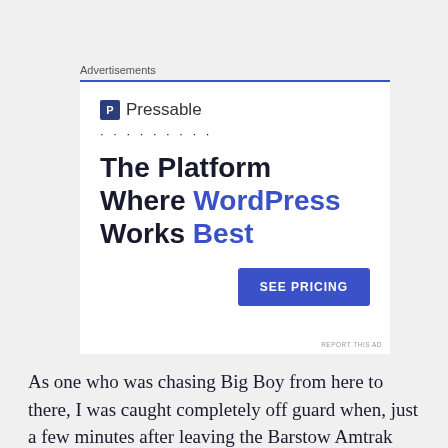Advertisements
[Figure (other): Pressable advertisement banner. Shows Pressable logo at top, dotted line, large headline 'The Platform Where WordPress Works Best', and a blue 'SEE PRICING' button. 'REPORT THIS AD' text at bottom right.]
As one who was chasing Big Boy from here to there, I was caught completely off guard when, just a few minutes after leaving the Barstow Amtrak station, it